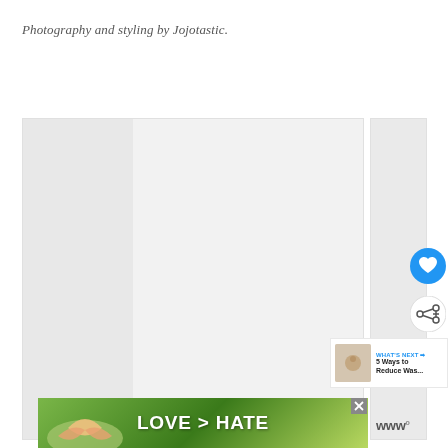Photography and styling by Jojotastic.
[Figure (photo): Large photo area showing a photography composition, partially visible on left side and right edge of page]
[Figure (infographic): UI overlay: blue heart/favorite button circle and white share button circle with social share icon]
[Figure (infographic): WHAT'S NEXT panel with thumbnail showing '5 Ways to Reduce Was...']
[Figure (photo): Advertisement banner with hands forming a heart shape and text LOVE > HATE on green background]
[Figure (logo): Triple-W (www) logo with degree symbol]